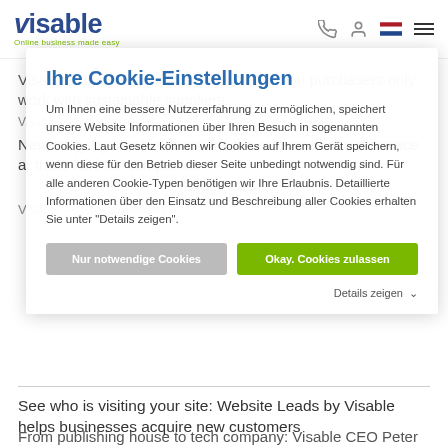visable – Online business made easy
Visable survey shows: A quarter of German purchasers only work with sustainable suppliers.
New study by Visable questions the relevance of a presence at trade fairs for companies
04-05-2021
Ihre Cookie-Einstellungen
Um Ihnen eine bessere Nutzererfahrung zu ermöglichen, speichert unsere Website Informationen über Ihren Besuch in sogenannten Cookies. Laut Gesetz können wir Cookies auf Ihrem Gerät speichern, wenn diese für den Betrieb dieser Seite unbedingt notwendig sind. Für alle anderen Cookie-Typen benötigen wir Ihre Erlaubnis. Detaillierte Informationen über den Einsatz und Beschreibung aller Cookies erhalten Sie unter "Details zeigen".
Nur notwendige Cookies
Okay. Cookies zulassen
Details zeigen
From publishing house to tech company: Visable CEO Peter F. Schmid tells change story in new book
03-03-2021
See who is visiting your site: Website Leads by Visable helps businesses acquire new customers